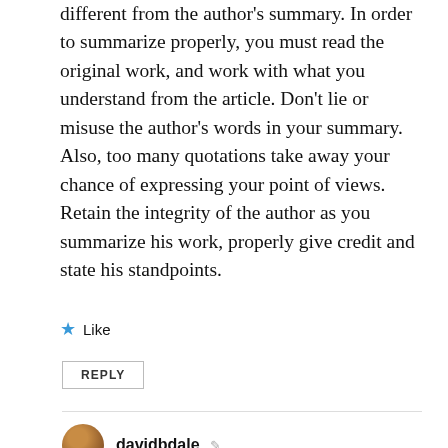different from the author's summary. In order to summarize properly, you must read the original work, and work with what you understand from the article. Don't lie or misuse the author's words in your summary. Also, too many quotations take away your chance of expressing your point of views. Retain the integrity of the author as you summarize his work, properly give credit and state his standpoints.
★ Like
REPLY
davidbdale
September 12, 2018 at 12:39 pm
Good work, KingK.
2/2